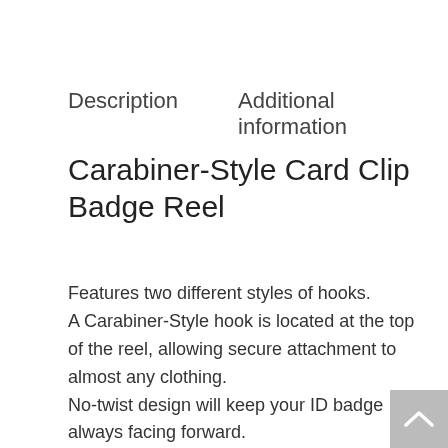Description    Additional information
Carabiner-Style Card Clip Badge Reel
Features two different styles of hooks.
A Carabiner-Style hook is located at the top of the reel, allowing secure attachment to almost any clothing.
No-twist design will keep your ID badge always facing forward.
The Reel's Card Clip easily fastens onto any slot punched ID card or corresponding badge holder